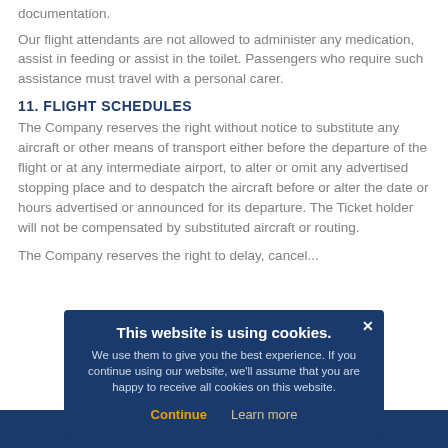documentation.
Our flight attendants are not allowed to administer any medication, assist in feeding or assist in the toilet. Passengers who require such assistance must travel with a personal carer.
11. FLIGHT SCHEDULES
The Company reserves the right without notice to substitute any aircraft or other means of transport either before the departure of the flight or at any intermediate airport, to alter or omit any advertised stopping place and to despatch the aircraft before or alter the date or hours advertised or announced for its departure. The Ticket holder will not be compensated by substituted aircraft or routing.
The Company reserves the right to delay, cancel...
[Figure (other): Cookie consent popup overlay with title 'This website is using cookies.' and buttons 'Continue' and 'Learn more']
TAP HERE TO START YOUR BOOKING